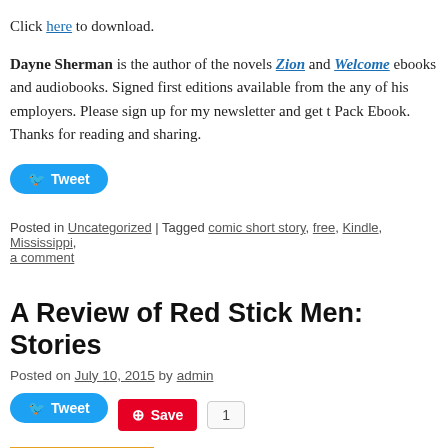Click here to download.
Dayne Sherman is the author of the novels Zion and Welcome ebooks and audiobooks. Signed first editions available from the any of his employers. Please sign up for my newsletter and get t Pack Ebook. Thanks for reading and sharing.
[Figure (other): Twitter Tweet button (blue rounded pill button with bird icon and 'Tweet' text)]
Posted in Uncategorized | Tagged comic short story, free, Kindle, Mississippi, a comment
A Review of Red Stick Men: Stories
Posted on July 10, 2015 by admin
[Figure (other): Twitter Tweet button, Pinterest Save button with count 1, and Amazon book cover image for Red Stick Men]